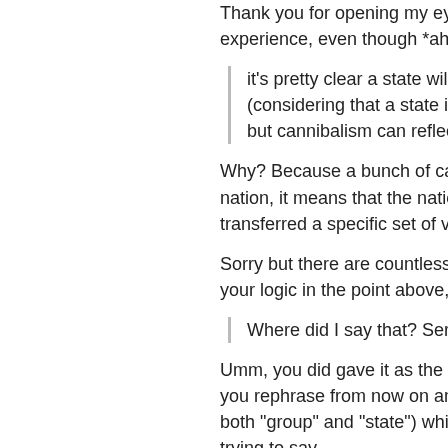Thank you for opening my ey experience, even though *ah
it's pretty clear a state will (considering that a state in but cannibalism can reflec
Why? Because a bunch of ca nation, it means that the natio transferred a specific set of v
Sorry but there are countless your logic in the point above,
Where did I say that? Seri
Umm, you did gave it as the o you rephrase from now on an both "group" and "state") whic trying to say.
I don't think that this is a ra
Uhmm...evidence?...no?...ok. be a minority in this world, thi sure, they are cannibals and t then? Shouldn't THIS...